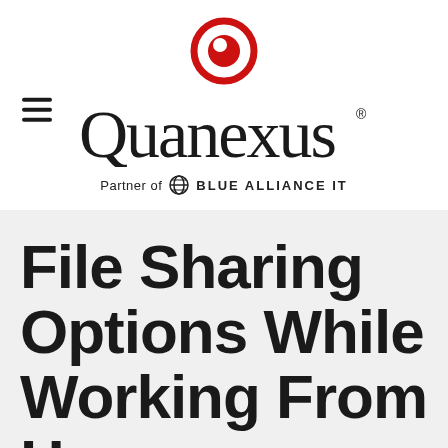[Figure (logo): Quanexus logo with red Q icon above, large Quanexus wordmark in black serif font with registered trademark, hamburger menu icon on the left, and 'Partner of Blue Alliance IT' tagline with globe icon below]
File Sharing Options While Working From Home